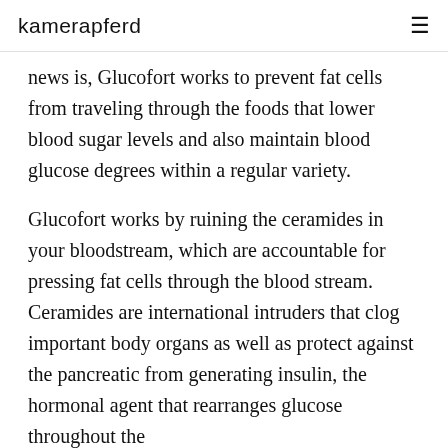kamerapferd
news is, Glucofort works to prevent fat cells from traveling through the foods that lower blood sugar levels and also maintain blood glucose degrees within a regular variety.
Glucofort works by ruining the ceramides in your bloodstream, which are accountable for pressing fat cells through the blood stream. Ceramides are international intruders that clog important body organs as well as protect against the pancreatic from generating insulin, the hormonal agent that rearranges glucose throughout the